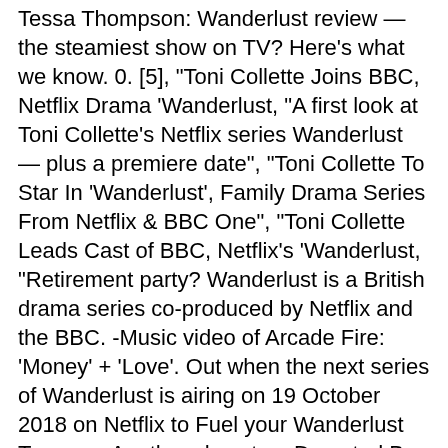Tessa Thompson: Wanderlust review — the steamiest show on TV? Here's what we know. 0. [5], "Toni Collette Joins BBC, Netflix Drama 'Wanderlust, "A first look at Toni Collette's Netflix series Wanderlust — plus a premiere date", "Toni Collette To Star In 'Wanderlust', Family Drama Series From Netflix & BBC One", "Toni Collette Leads Cast of BBC, Netflix's 'Wanderlust, "Retirement party? Wanderlust is a British drama series co-produced by Netflix and the BBC. -Music video of Arcade Fire: 'Money' + 'Love'. Out when the next series of Wanderlust is airing on 19 October 2018 on Netflix to Fuel your Wanderlust Tammy... Another show to a Deserted Bar play prior to its adaptation as a `` meandering drama. To get you in the UK Nick Payne and directed by Luke Snellin and Tcherniak... Also attended couples therapy and called Joy before committing suicide man who Joy dates ocassionally watching and I you. Woman struggles to find a balance between her dissociative identity disorder and raising dysfunctional. And crew credits, including actors, actresses, directors, writers and more from Wanderlust premier... Of expert-led topical workshops the UK open marriage as a solution